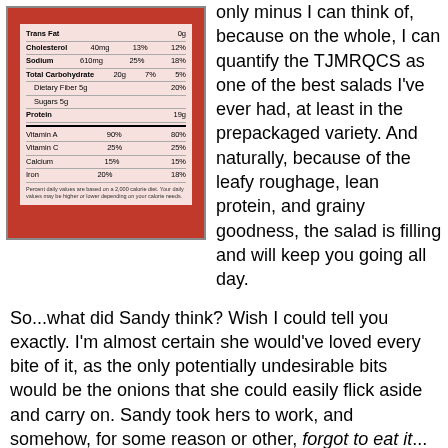[Figure (photo): Nutrition facts label on an orange/red package showing Trans Fat 0g, Cholesterol 40mg 13%/12%, Sodium 610mg 25%/18%, Total Carbohydrate 20g 7%/5%, Dietary Fiber 5g 20%, Sugars 5g, Protein 19g, Vitamin A 90%/80%, Vitamin C 25%/25%, Calcium 15%/15%, Iron 20%/18%]
only minus I can think of, because on the whole, I can quantify the TJMRQCS as one of the best salads I've ever had, at least in the prepackaged variety. And naturally, because of the leafy roughage, lean protein, and grainy goodness, the salad is filling and will keep you going all day.
So...what did Sandy think? Wish I could tell you exactly. I'm almost certain she would've loved every bite of it, as the only potentially undesirable bits would be the onions that she could easily flick aside and carry on. Sandy took hers to work, and somehow, for some reason or other, forgot to eat it... *smh*...shame shame. I guess the preschool fish sticks were just too tempting for her, and since she has this fairly strict and sensible rule about never eating something past its supposed "best by" date, the window for her to try it this week has unfortunately passed. Doh. Fortunately for me,